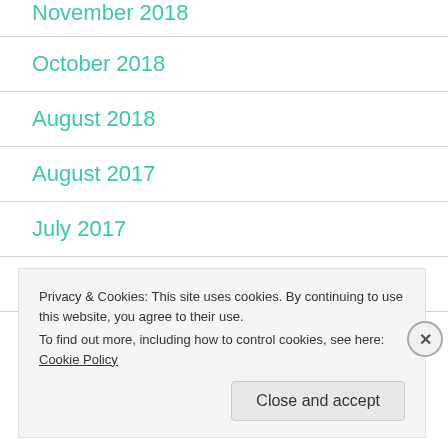November 2018
October 2018
August 2018
August 2017
July 2017
April 2017
Privacy & Cookies: This site uses cookies. By continuing to use this website, you agree to their use.
To find out more, including how to control cookies, see here: Cookie Policy
Close and accept